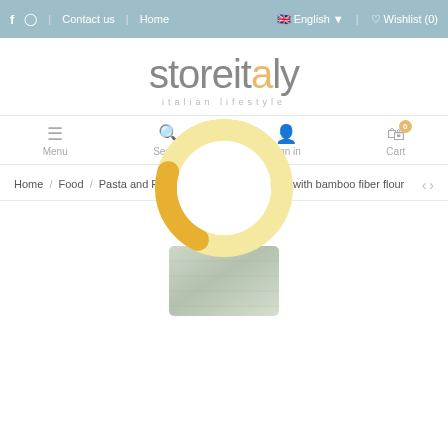f  ig  |  Contact us  |  Home  |  English  |  Wishlist (0)
[Figure (logo): storeitaly logo with orange 'a', tagline 'italian lifestyle']
[Figure (infographic): Navigation icons: Menu (hamburger), Search (magnifier), Sign in (person), Cart (shopping cart with badge 0)]
[Figure (infographic): Loading spinner donut chart, mostly light yellow with about 1/4 orange arc, centered over page content]
Home / Food / Pasta and Rice / Gluten Free / Pasta with bamboo fiber flour
[Figure (photo): Product image of pasta package in greenish-grey packaging, partially visible at bottom of page]